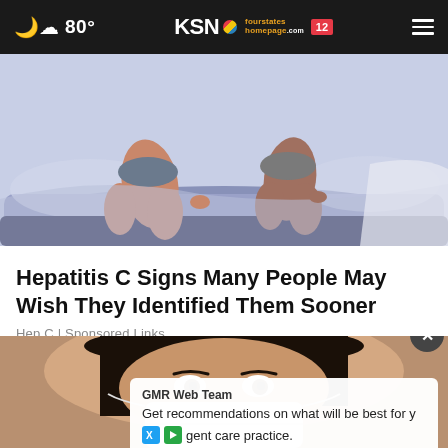80° KSN fourstates homepage .com 12
[Figure (illustration): Illustration of two people sitting on a bed, close-up of legs and lower torso, soft blue/purple bedding, cartoon style]
Hepatitis C Signs Many People May Wish They Identified Them Sooner
Hep C | Sponsored Links
[Figure (photo): Close-up photo of a young Asian woman's face from nose up, looking upward, wearing a white mask, beige/brown background]
GMR Web Team
Get recommendations on what will be best for y
gent care practice.